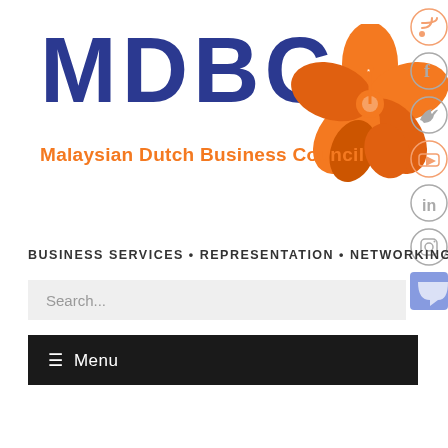[Figure (logo): MDBC Malaysian Dutch Business Council logo with orange hibiscus flower and blue MDBC text]
BUSINESS SERVICES • REPRESENTATION • NETWORKING
Search...
≡ Menu